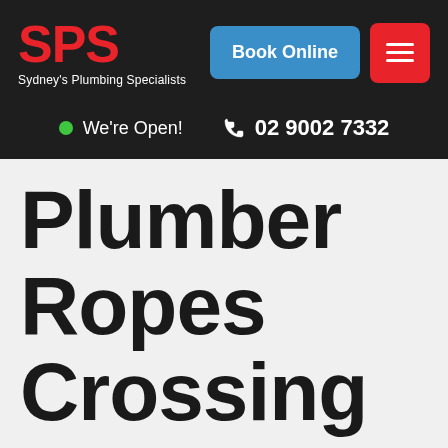[Figure (logo): SPS - Sydney's Plumbing Specialists logo in red on dark background]
Book Online
We're Open!   02 9002 7332
Plumber Ropes Crossing
If your looking for a plumber Ropes Crossing, you've landed on the right page. SPS Plumber Ropes Crossing is local award winning plumbing company